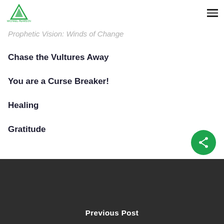Prophetic Vision: Winds of Change
Chase the Vultures Away
You are a Curse Breaker!
Healing
Gratitude
Previous Post